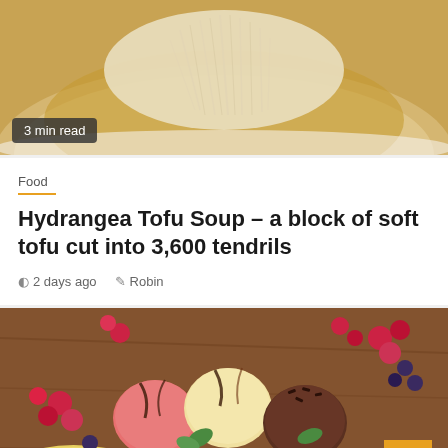[Figure (photo): Close-up photo of hydrangea tofu soup in a white bowl, showing shredded white tofu tendrils in golden broth]
3 min read
Food
Hydrangea Tofu Soup – a block of soft tofu cut into 3,600 tendrils
2 days ago   Robin
[Figure (photo): Photo of a banana split dessert with three scoops of ice cream (strawberry, vanilla, chocolate) drizzled with chocolate sauce, garnished with mint leaves, served in a glass dish surrounded by fresh raspberries and blueberries on a wooden surface]